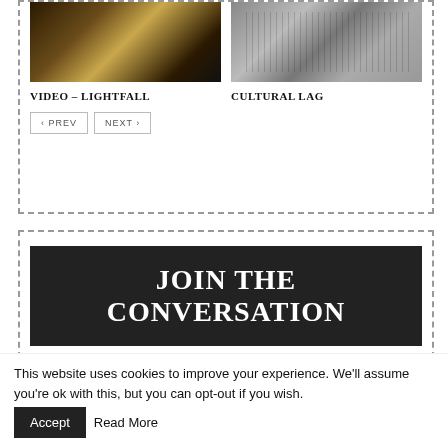[Figure (photo): Thumbnail image of dark atmospheric scene with light rays - VIDEO LIGHTFALL]
[Figure (photo): Black and white thumbnail photo of people gathered around a table - CULTURAL LAG]
VIDEO – LIGHTFALL
CULTURAL LAG
‹ PREV   NEXT ›
[Figure (infographic): Dark banner with white bold serif text: JOIN THE CONVERSATION]
Bdicksonnv Says
2 months ago
This website uses cookies to improve your experience. We'll assume you're ok with this, but you can opt-out if you wish.
Accept
Read More